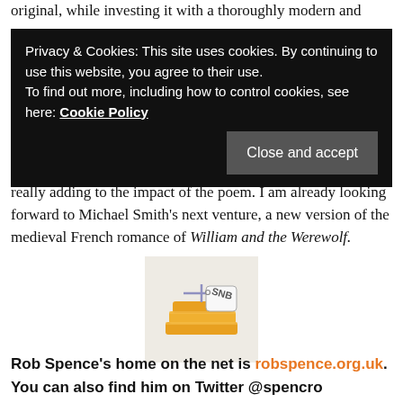original, while investing it with a thoroughly modern and
Privacy & Cookies: This site uses cookies. By continuing to use this website, you agree to their use. To find out more, including how to control cookies, see here: Cookie Policy
usual high standard from Unbound, with the illustrations really adding to the impact of the poem. I am already looking forward to Michael Smith's next venture, a new version of the medieval French romance of William and the Werewolf.
[Figure (logo): SNB books logo: stacked books with a gift tag reading SNB]
Rob Spence's home on the net is robspence.org.uk.  You can also find him on Twitter @spencro